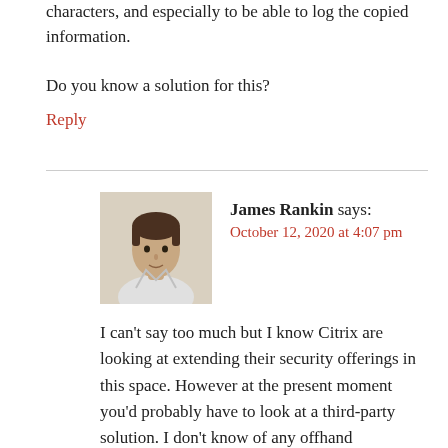characters, and especially to be able to log the copied information.
Do you know a solution for this?
Reply
[Figure (photo): Profile photo of James Rankin, a man facing the camera]
James Rankin says:
October 12, 2020 at 4:07 pm
I can't say too much but I know Citrix are looking at extending their security offerings in this space. However at the present moment you'd probably have to look at a third-party solution. I don't know of any offhand unfortunately – I will try and have a look into it at some point.